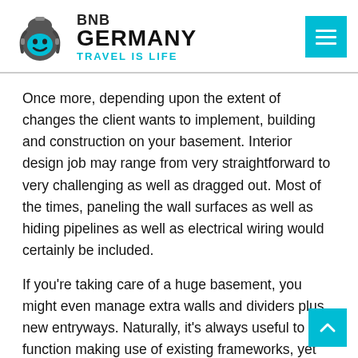BNB GERMANY TRAVEL IS LIFE
Once more, depending upon the extent of changes the client wants to implement, building and construction on your basement. Interior design job may range from very straightforward to very challenging as well as dragged out. Most of the times, paneling the wall surfaces as well as hiding pipelines as well as electrical wiring would certainly be included.
If you’re taking care of a huge basement, you might even manage extra walls and dividers plus new entryways. Naturally, it’s always useful to function making use of existing frameworks, yet there are clients for whom money is no item, and this can give you the additional freedom your creativity requires.